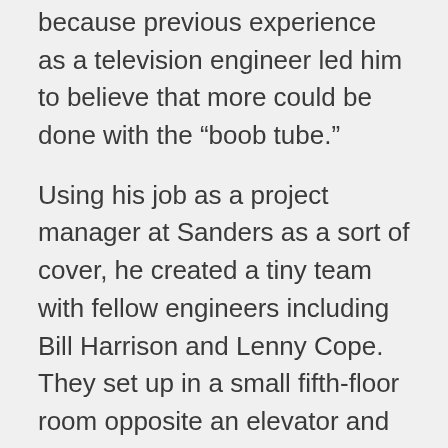because previous experience as a television engineer led him to believe that more could be done with the “boob tube.”
Using his job as a project manager at Sanders as a sort of cover, he created a tiny team with fellow engineers including Bill Harrison and Lenny Cope. They set up in a small fifth-floor room opposite an elevator and got to work, shuffling around the costs to hide them from managers until he had something to display.
“When they were doing it, everyone was like, why are you fooling around?” said Bob Pelovitz, who started working with Baer in the 1980s and beyond. After Magnavox Odyssey